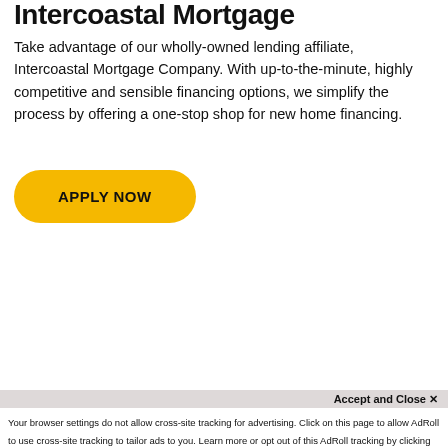Intercoastal Mortgage
Take advantage of our wholly-owned lending affiliate, Intercoastal Mortgage Company. With up-to-the-minute, highly competitive and sensible financing options, we simplify the process by offering a one-stop shop for new home financing.
APPLY NOW
[Figure (photo): Blurred background photo of a home interior, light neutral tones]
We use third-party monitoring services and may capture information about your visit to improve your experience and the quality of our service. By clicking "Accept" you consent
ACCEPT
Accept and Close ×
Your browser settings do not allow cross-site tracking for advertising. Click on this page to allow AdRoll to use cross-site tracking to tailor ads to you. Learn more or opt out of this AdRoll tracking by clicking here. This message only appears once.